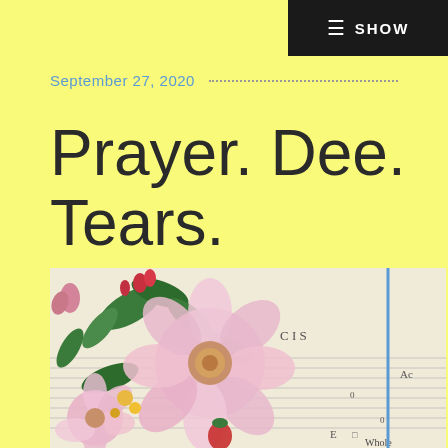≡ SHOW
September 27, 2020
Prayer. Dee. Tears.
[Figure (photo): A photo of floral fabric (pink and white flowers with green leaves) layered over old sheet music paper, with a blue vertical line on the right side]